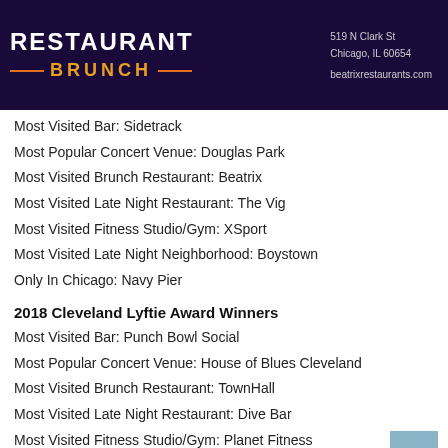[Figure (photo): Beatrix Restaurant Brunch banner on dark purple background with neon-style text, address 519 N Clark St, Chicago, IL 60654, beatrixrestaurants.com]
Most Visited Bar: Sidetrack
Most Popular Concert Venue: Douglas Park
Most Visited Brunch Restaurant: Beatrix
Most Visited Late Night Restaurant: The Vig
Most Visited Fitness Studio/Gym: XSport
Most Visited Late Night Neighborhood: Boystown
Only In Chicago: Navy Pier
2018 Cleveland Lyftie Award Winners
Most Visited Bar: Punch Bowl Social
Most Popular Concert Venue: House of Blues Cleveland
Most Visited Brunch Restaurant: TownHall
Most Visited Late Night Restaurant: Dive Bar
Most Visited Fitness Studio/Gym: Planet Fitness
Most Visited Late Night Neighborhood: East Bank Flats